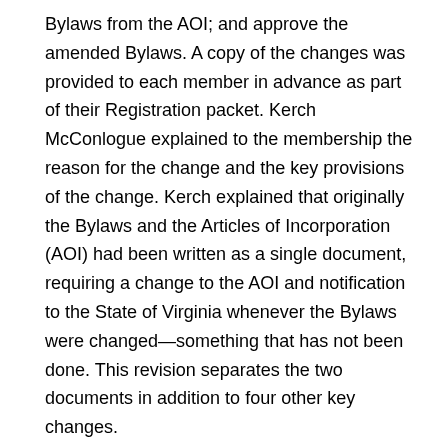Bylaws from the AOI; and approve the amended Bylaws. A copy of the changes was provided to each member in advance as part of their Registration packet. Kerch McConlogue explained to the membership the reason for the change and the key provisions of the change. Kerch explained that originally the Bylaws and the Articles of Incorporation (AOI) had been written as a single document, requiring a change to the AOI and notification to the State of Virginia whenever the Bylaws were changed—something that has not been done. This revision separates the two documents in addition to four other key changes.
Authorizes the Board of Directors to set and collect dues.